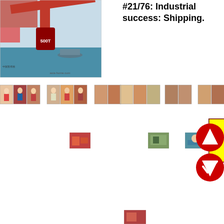[Figure (photo): Chinese industrial propaganda poster showing a crane with '500T' label over a harbor/shipping scene, watermarked asia-home.com]
#21/76: Industrial success: Shipping.
[Figure (photo): A horizontal strip of many small Chinese propaganda poster thumbnails showing various people and scenes]
[Figure (photo): Small thumbnail image - red building/structure scene]
[Figure (photo): Small thumbnail image - outdoor scene]
[Figure (illustration): Yellow vertical rectangle with dark red border and Chinese characters, currently selected/highlighted item]
[Figure (photo): Small thumbnail image - person/harbor scene]
[Figure (illustration): Red circular navigation/scroll buttons (up and down arrows) on right side]
[Figure (photo): Partially visible small thumbnail at bottom of page]